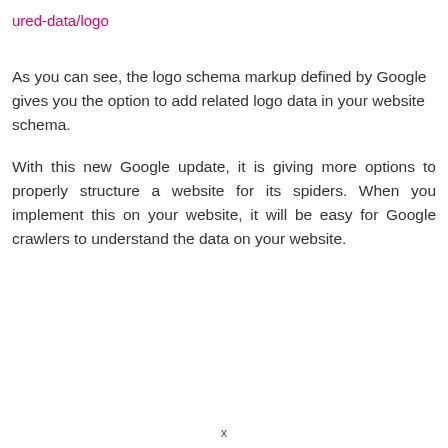ured-data/logo
As you can see, the logo schema markup defined by Google gives you the option to add related logo data in your website schema.
With this new Google update, it is giving more options to properly structure a website for its spiders. When you implement this on your website, it will be easy for Google crawlers to understand the data on your website.
x